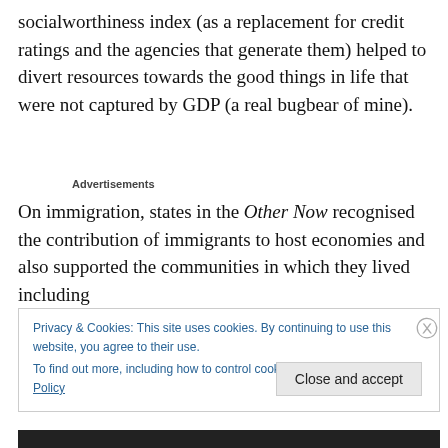socialworthiness index (as a replacement for credit ratings and the agencies that generate them) helped to divert resources towards the good things in life that were not captured by GDP (a real bugbear of mine).
Advertisements
On immigration, states in the Other Now recognised the contribution of immigrants to host economies and also supported the communities in which they lived including
Privacy & Cookies: This site uses cookies. By continuing to use this website, you agree to their use.
To find out more, including how to control cookies, see here: Cookie Policy